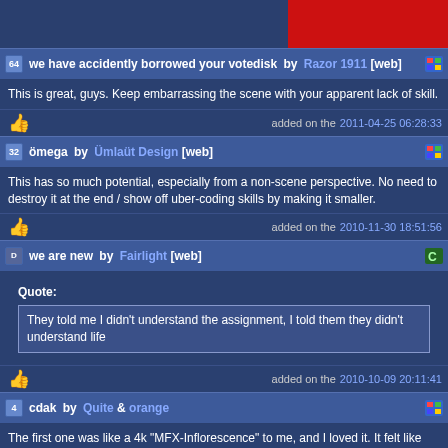[Figure (screenshot): Top banner with red block on right side]
we have accidently borrowed your votedisk by Razor 1911 [web]
This is great, guys. Keep embarrassing the scene with your apparent lack of skill.
added on the 2011-04-25 06:28:33
ömega by Ümlaüt Design [web]
This has so much potential, especially from a non-scene perspective. No need to destroy it at the end / show off uber-coding skills by making it smaller.
added on the 2010-11-30 18:51:56
we are new by Fairlight [web]
Quote: They told me I didn't understand the assignment, I told them they didn't understand life
added on the 2010-10-09 20:11:41
cdak by Quite & orange
The first one was like a 4k "MFX-Inflorescence" to me, and I loved it. It felt like you were descending into another world. Glad I d/l'ed the vid of the first one while I could!

Of course, both are technically amazing, congrats!
added on the 2010-09-28 23:22:44
neanderstaller by Pittsburgh Stallers [web]